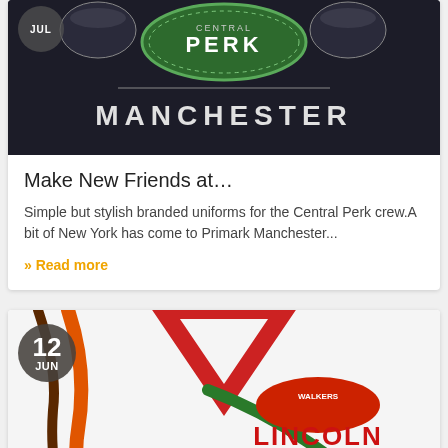[Figure (photo): Dark fabric garment with embroidered Central Perk Manchester logo (Friends TV show themed), with JUL date badge overlay]
Make New Friends at…
Simple but stylish branded uniforms for the Central Perk crew.A bit of New York has come to Primark Manchester...
» Read more
[Figure (photo): White garment with orange, red, and green stripes/chevron design, with Walkers Lincoln 80/50 logo, with 12 JUN date badge overlay]